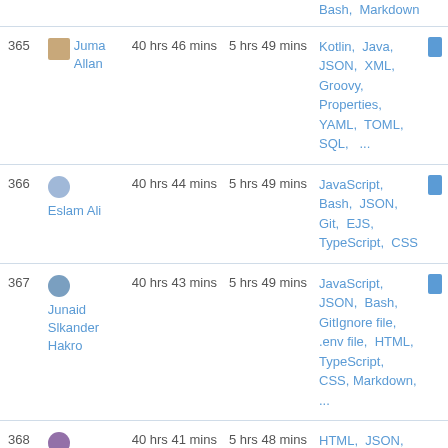| # | User | Total | Daily Avg | Languages |  |
| --- | --- | --- | --- | --- | --- |
| 365 | Juma Allan | 40 hrs 46 mins | 5 hrs 49 mins | Kotlin, Java, JSON, XML, Groovy, Properties, YAML, TOML, SQL, ... |  |
| 366 | Eslam Ali | 40 hrs 44 mins | 5 hrs 49 mins | JavaScript, Bash, JSON, Git, EJS, TypeScript, CSS |  |
| 367 | Junaid Slkander Hakro | 40 hrs 43 mins | 5 hrs 49 mins | JavaScript, JSON, Bash, GitIgnore file, .env file, HTML, TypeScript, CSS, Markdown, ... |  |
| 368 | Brian Wheeler | 40 hrs 41 mins | 5 hrs 48 mins | HTML, JSON, Markdown |  |
| 369 | Karl Louise | 40 hrs 40 mins | 5 hrs 48 mins | PHP, Vue.js, |  |